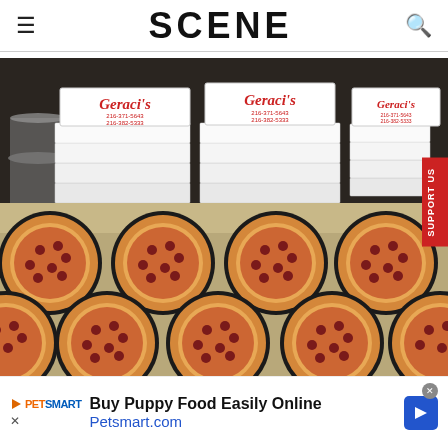SCENE
[Figure (photo): Stacks of Geraci's pizza boxes (white boxes with red script logo showing phone numbers 216-371-5643 and 216-382-5333) on a counter above rows of pepperoni pizzas on black pans]
Buy Puppy Food Easily Online Petsmart.com